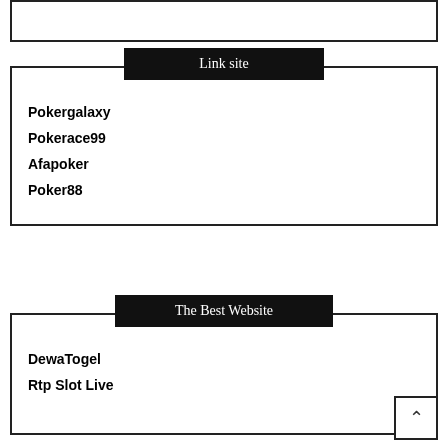Link site
Pokergalaxy
Pokerace99
Afapoker
Poker88
The Best Website
DewaTogel
Rtp Slot Live